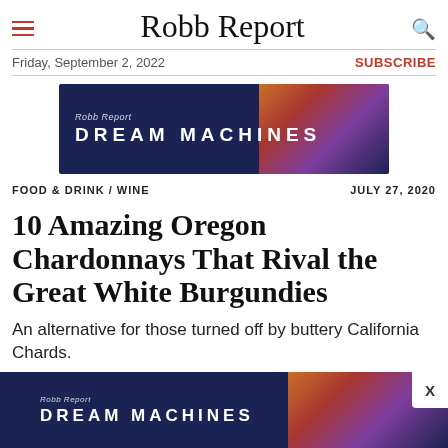Robb Report
Friday, September 2, 2022
SUBSCRIBE
[Figure (advertisement): Robb Report Dream Machines advertisement banner with dark navy blue background and illuminated building at night on the right side.]
FOOD & DRINK / WINE
JULY 27, 2020
10 Amazing Oregon Chardonnays That Rival the Great White Burgundies
An alternative for those turned off by buttery California Chards.
By SARA L. SCHNEIDER
[Figure (advertisement): Robb Report Dream Machines advertisement banner at bottom of page, dark navy blue background with illuminated building at night.]